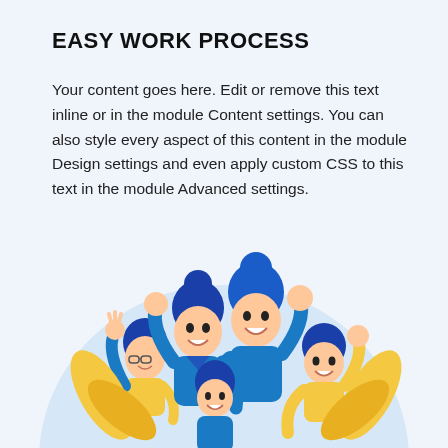EASY WORK PROCESS
Your content goes here. Edit or remove this text inline or in the module Content settings. You can also style every aspect of this content in the module Design settings and even apply custom CSS to this text in the module Advanced settings.
[Figure (illustration): Flat-style vector illustration of five smiling cartoon people with blue hair grouped together in a cheerful pose, set against a large light-blue circle background. Characters include adults and a child, wearing blue and yellow clothing.]